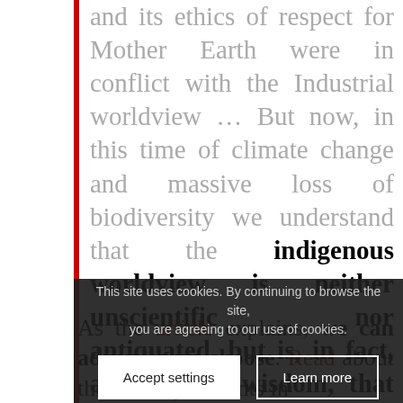and its ethics of respect for Mother Earth were in conflict with the Industrial worldview ... But now, in this time of climate change and massive loss of biodiversity we understand that the indigenous worldview is neither unscientific nor antiquated, but is, in fact, a source of wisdom, that we urge
This site uses cookies. By continuing to browse the site, you are agreeing to our use of cookies.
As the article explains, we can adjust or un-choose. Read about the two adjustments in